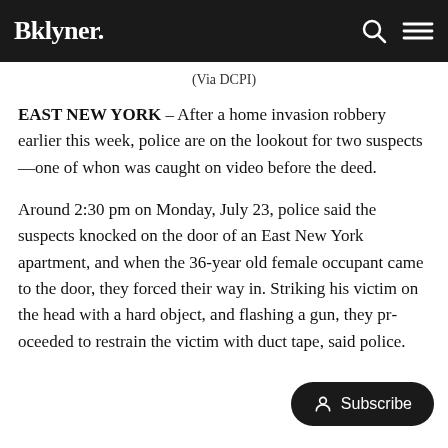Bklyner.
(Via DCPI)
EAST NEW YORK – After a home invasion robbery earlier this week, police are on the lookout for two suspects—one of whon was caught on video before the deed.
Around 2:30 pm on Monday, July 23, police said the suspects knocked on the door of an East New York apartment, and when the 36-year old female occupant came to the door, they forced their way in. Striking his victim on the head with a hard object, and flashing a gun, they proceeded to restrain the victim with duct tape, said police.